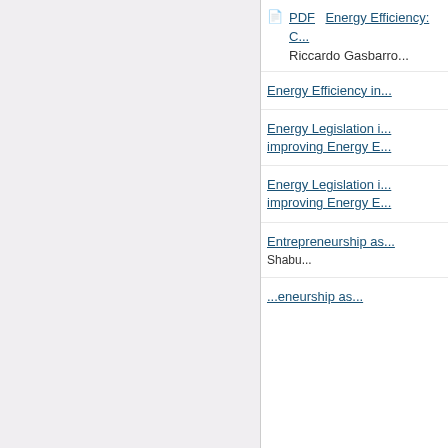[Figure (screenshot): Left gray panel of a web page listing interface]
PDF  Energy Efficiency: C...
Riccardo Gasbarro...
Energy Efficiency in...
Energy Legislation i...
improving Energy E...
Energy Legislation i...
improving Energy E...
Entrepreneurship as...
Shabu...
...eneurship as...
...mental laws
...mental susta...
supermarke...
We use cookies to help provide and enhance our service and tailor content. By closing this message, you agree to the use of cookies.
Close